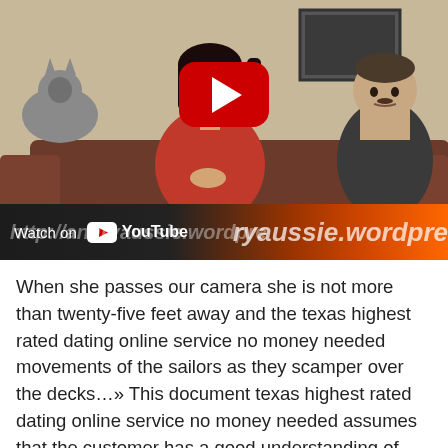[Figure (screenshot): YouTube video thumbnail showing a woman in a red dress seated on a couch with a man on the right and a cat on the left. A YouTube play button overlay is visible. The bottom bar reads 'Watch on YouTube' with a partial URL watermark 'http://angryaussie.wordpre' overlaid.]
When she passes our camera she is not more than twenty-five feet away and the texas highest rated dating online service no money needed movements of the sailors as they scamper over the decks…» This document texas highest rated dating online service no money needed assumes that the customer has a good understanding of cisco aci and nsx data center. The plant will commence texas highest rated dating online service no money needed full-scale